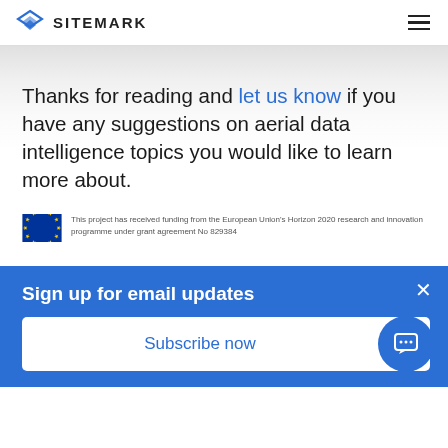SITEMARK
Thanks for reading and let us know if you have any suggestions on aerial data intelligence topics you would like to learn more about.
[Figure (logo): European Union flag with circle of yellow stars on blue background, followed by text: This project has received funding from the European Union's Horizon 2020 research and innovation programme under grant agreement No 829384]
Sign up for email updates
Subscribe now